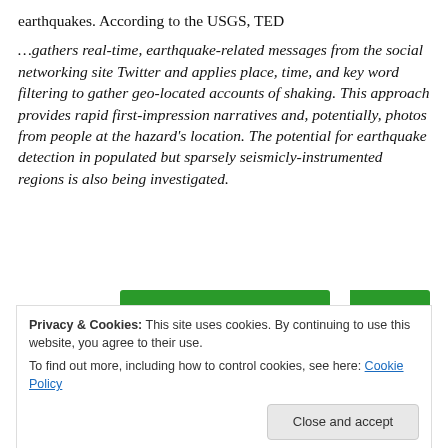earthquakes. According to the USGS, TED
…gathers real-time, earthquake-related messages from the social networking site Twitter and applies place, time, and key word filtering to gather geo-located accounts of shaking. This approach provides rapid first-impression narratives and, potentially, photos from people at the hazard's location. The potential for earthquake detection in populated but sparsely seismicly-instrumented regions is also being investigated.
[Figure (screenshot): Green navigation bar partially visible at top of cookie banner]
Privacy & Cookies: This site uses cookies. By continuing to use this website, you agree to their use.
To find out more, including how to control cookies, see here: Cookie Policy
Close and accept